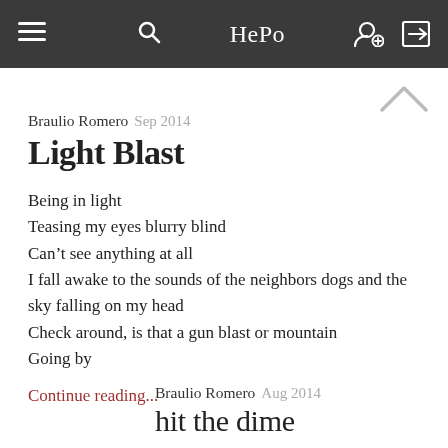HePo
Braulio Romero  Sep 2014
Light Blast
Being in light
Teasing my eyes blurry blind
Can't see anything at all
I fall awake to the sounds of the neighbors dogs and the sky falling on my head
Check around, is that a gun blast or mountain
Going by
Continue reading...
Braulio Romero  Aug 2014
hit the dime